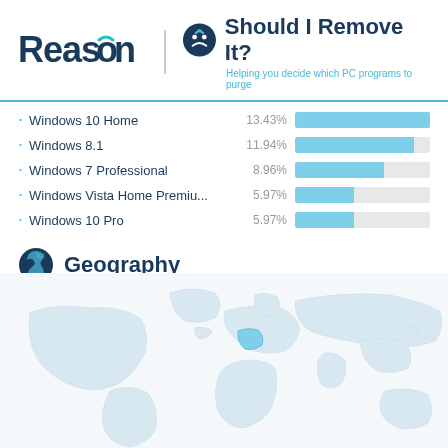[Figure (logo): Reason logo and Should I Remove It? branding header]
[Figure (bar-chart): OS distribution]
Geography
41.67% of installs come from France
[Figure (map): World map showing install geography with France highlighted in blue]